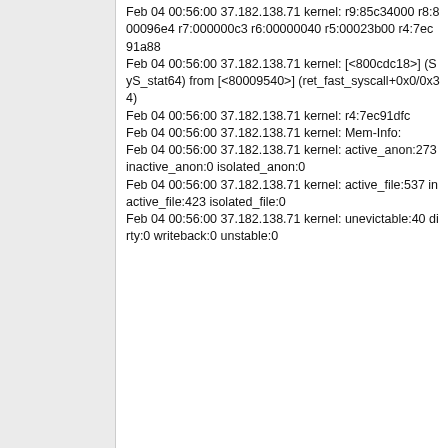Feb 04 00:56:00 37.182.138.71 kernel: r9:85c34000 r8:800096e4 r7:000000c3 r6:00000040 r5:00023b00 r4:7ec91a88
Feb 04 00:56:00 37.182.138.71 kernel:  [<800cdc18>] (SyS_stat64) from [<80009540>] (ret_fast_syscall+0x0/0x34)
Feb 04 00:56:00 37.182.138.71 kernel: r4:7ec91dfc
Feb 04 00:56:00 37.182.138.71 kernel:  Mem-Info:
Feb 04 00:56:00 37.182.138.71 kernel:  active_anon:273 inactive_anon:0 isolated_anon:0
Feb 04 00:56:00 37.182.138.71 kernel: active_file:537 inactive_file:423 isolated_file:0
Feb 04 00:56:00 37.182.138.71 kernel: unevictable:40 dirty:0 writeback:0 unstable:0